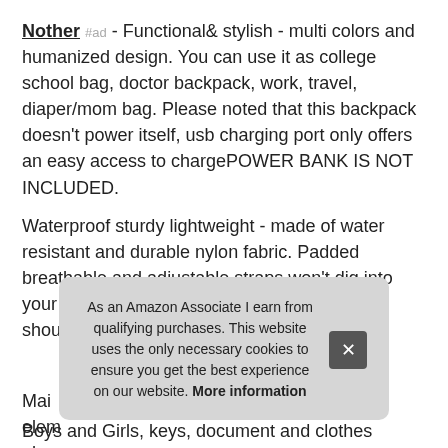Nother #ad - Functional& stylish - multi colors and humanized design. You can use it as college school bag, doctor backpack, work, travel, diaper/mom bag. Please noted that this backpack doesn't power itself, usb charging port only offers an easy access to chargePOWER BANK IS NOT INCLUDED.
Waterproof sturdy lightweight - made of water resistant and durable nylon fabric. Padded breathable and adjustable straps won't dig into your shoulders, help you release the stress of shoulder. A luggage for short trip.
More information #ad
Mai... elem... pho... fit y...
Boys and Girls, keys, document and clothes
As an Amazon Associate I earn from qualifying purchases. This website uses the only necessary cookies to ensure you get the best experience on our website. More information